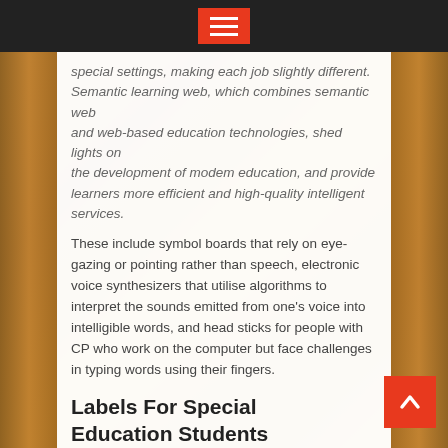[Navigation bar with hamburger menu button]
special settings, making each job slightly different. Semantic learning web, which combines semantic web and web-based education technologies, shed lights on the development of modem education, and provide learners more efficient and high-quality intelligent services.
These include symbol boards that rely on eye-gazing or pointing rather than speech, electronic voice synthesizers that utilise algorithms to interpret the sounds emitted from one's voice into intelligible words, and head sticks for people with CP who work on the computer but face challenges in typing words using their fingers.
Labels For Special Education Students
The sixth of our series of ten articles on cerebral palsy